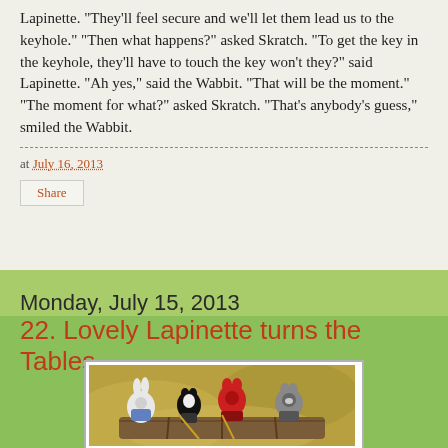Lapinette. "They'll feel secure and we'll let them lead us to the keyhole." "Then what happens?" asked Skratch. "To get the key in the keyhole, they'll have to touch the key won't they?" said Lapinette. "Ah yes," said the Wabbit. "That will be the moment." "The moment for what?" asked Skratch. "That's anybody's guess," smiled the Wabbit.
at July 16, 2013
Share
Monday, July 15, 2013
22. Lovely Lapinette turns the Tables
[Figure (photo): Illustrated cartoon characters including a white rabbit, a black and white cat, a red creature, and a grey raccoon-like figure seated around what appears to be a wooden table or boat, with a swirling golden background.]